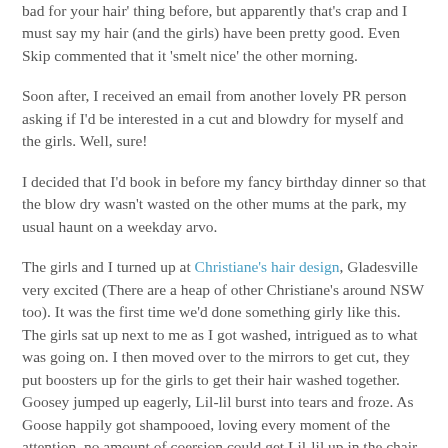bad for your hair' thing before, but apparently that's crap and I must say my hair (and the girls) have been pretty good. Even Skip commented that it 'smelt nice' the other morning.
Soon after, I received an email from another lovely PR person asking if I'd be interested in a cut and blowdry for myself and the girls. Well, sure!
I decided that I'd book in before my fancy birthday dinner so that the blow dry wasn't wasted on the other mums at the park, my usual haunt on a weekday arvo.
The girls and I turned up at Christiane's hair design, Gladesville very excited (There are a heap of other Christiane's around NSW too). It was the first time we'd done something girly like this. The girls sat up next to me as I got washed, intrigued as to what was going on. I then moved over to the mirrors to get cut, they put boosters up for the girls to get their hair washed together. Goosey jumped up eagerly, Lil-lil burst into tears and froze. As Goose happily got shampooed, loving every moment of the attention, no amount of coersion could get Lil-lil up in the chair and her